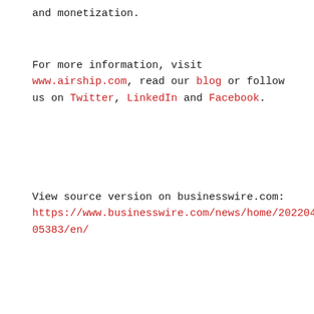and monetization.
For more information, visit www.airship.com, read our blog or follow us on Twitter, LinkedIn and Facebook.
View source version on businesswire.com:
https://www.businesswire.com/news/home/20220406005383/en/